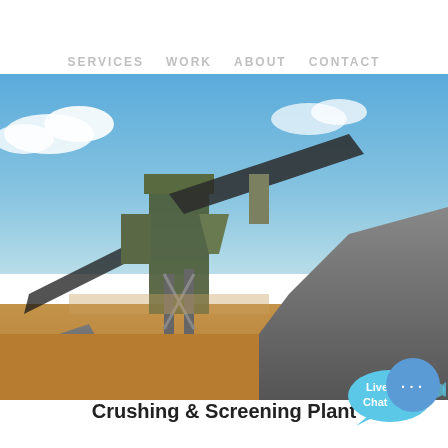SERVICES   WORK   ABOUT   CONTACT
[Figure (photo): Crushing and screening plant industrial facility with conveyor belts, large machinery, and piled gravel/rock aggregate under blue sky]
Crushing & Screening Plant
COLOR:
Orange
Blue
Yellow
2016-7-12 · The third step in crushing, or tertiary reduction, depends upon what is required. Two-inch or smaller pieces from the secondary crushers may be fed direct to stamps, rod mills, or ball mills, but it is more